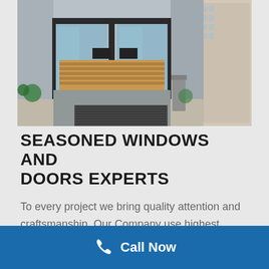[Figure (photo): Modern commercial building entrance with large glass sliding doors, a wooden reception desk visible inside, and a trash bin to the right. Urban buildings visible through the glass.]
SEASONED WINDOWS AND DOORS EXPERTS
To every project we bring quality attention and craftsmanship. Our Company use highest quality building materials built to Canadian standards. W...
Call Now